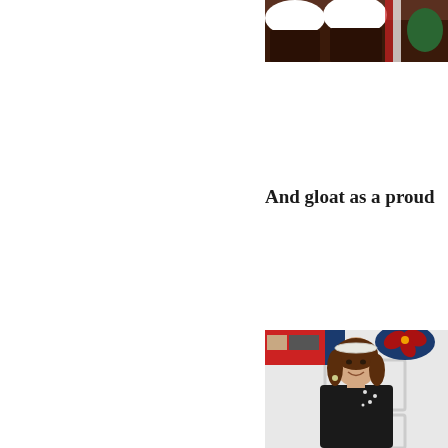[Figure (photo): Partial view of Christmas cupcakes with holiday decorations, cropped at top-right of page]
And gloat as a proud
[Figure (photo): A smiling young girl with brown hair and a white headband, wearing a black top with rhinestone decorations, standing in front of a white door with Christmas cards and a poinsettia decoration in the background]